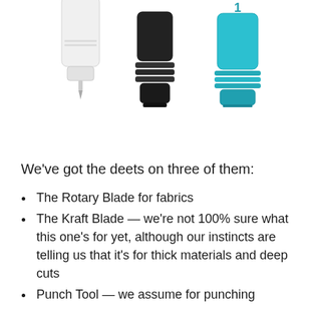[Figure (photo): Three cutting/punching tool attachments side by side: a white rotary blade tool (left), a black kraft blade tool (center), and a teal/cyan punch tool (right)]
We've got the deets on three of them:
The Rotary Blade for fabrics
The Kraft Blade — we're not 100% sure what this one's for yet, although our instincts are telling us that it's for thick materials and deep cuts
Punch Tool — we assume for punching